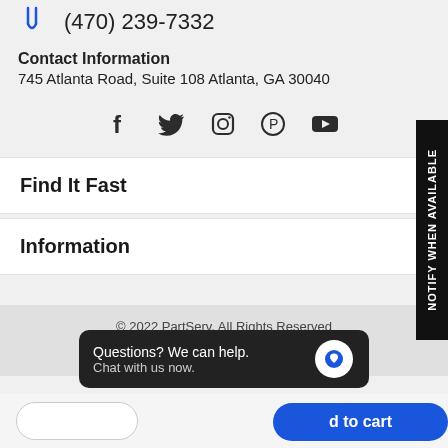(470) 239-7332
Contact Information
745 Atlanta Road, Suite 108 Atlanta, GA 30040
[Figure (other): Social media icons: Facebook, Twitter, Instagram, Pinterest, YouTube]
Find It Fast
Information
© 2022 PartServ. All Rights Reserved
Questions? We can help. Chat with us now.
d to cart